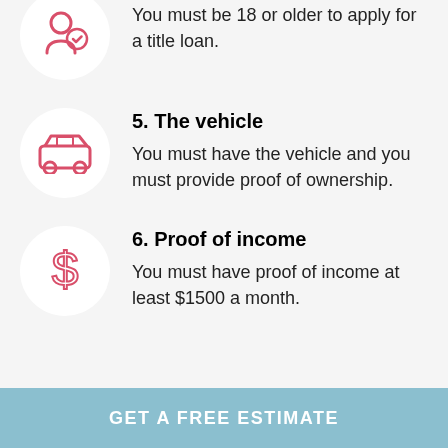You must be 18 or older to apply for a title loan.
5. The vehicle
You must have the vehicle and you must provide proof of ownership.
6. Proof of income
You must have proof of income at least $1500 a month.
GET A FREE ESTIMATE